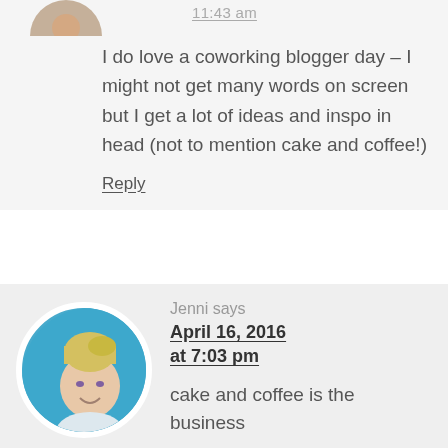11:43 am
I do love a coworking blogger day – I might not get many words on screen but I get a lot of ideas and inspo in head (not to mention cake and coffee!)
Reply
Jenni says
April 16, 2016 at 7:03 pm
cake and coffee is the business